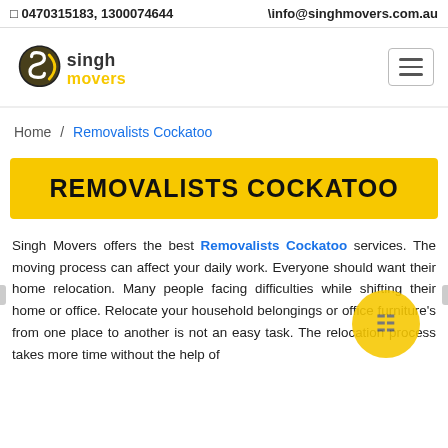0470315183, 1300074644   \info@singhmovers.com.au
[Figure (logo): Singh Movers logo with stylized S icon in black/yellow and 'singh movers' text]
Home / Removalists Cockatoo
REMOVALISTS COCKATOO
Singh Movers offers the best Removalists Cockatoo services. The moving process can affect your daily work. Everyone should want their home relocation. Many people facing difficulties while shifting their home or office. Relocate your household belongings or office furniture's from one place to another is not an easy task. The relocation process takes more time without the help of